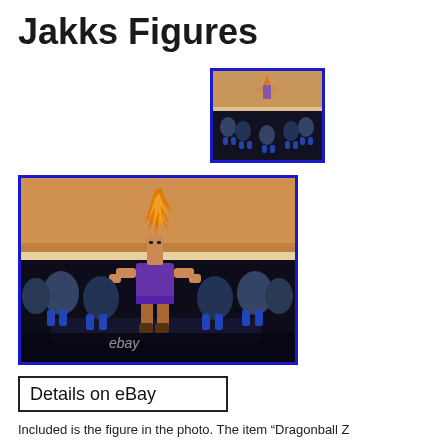Jakks Figures
[Figure (photo): Small thumbnail image of a Dragon Ball Z figure (Super Saiyan) surrounded by smaller figures on a shelf, with a blue border frame]
[Figure (photo): Larger eBay listing photo of a Dragon Ball Z Super Saiyan action figure standing among multiple smaller alien/Frieza Force figures on a display shelf. Watermark 'ebay' visible at bottom. Blue border frame.]
Details on eBay
Included is the figure in the photo. The item “Dragonball Z